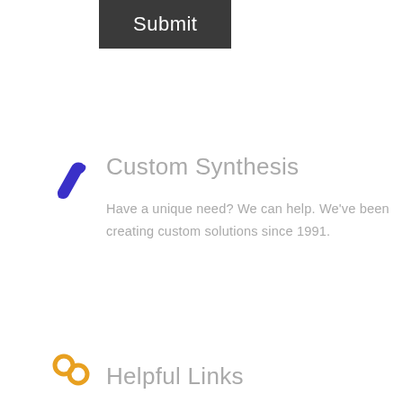[Figure (other): Dark gray Submit button]
[Figure (illustration): Blue wrench icon]
Custom Synthesis
Have a unique need? We can help. We've been creating custom solutions since 1991.
[Figure (other): Gray 'Tell us about your needs' button]
[Figure (illustration): Orange chain links icon]
Helpful Links